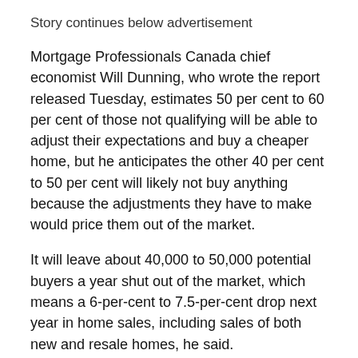Story continues below advertisement
Mortgage Professionals Canada chief economist Will Dunning, who wrote the report released Tuesday, estimates 50 per cent to 60 per cent of those not qualifying will be able to adjust their expectations and buy a cheaper home, but he anticipates the other 40 per cent to 50 per cent will likely not buy anything because the adjustments they have to make would price them out of the market.
It will leave about 40,000 to 50,000 potential buyers a year shut out of the market, which means a 6-per-cent to 7.5-per-cent drop next year in home sales, including sales of both new and resale homes, he said.
He added that rising interest rates are expected to have a similar level of impact on home buyers next year, on top of